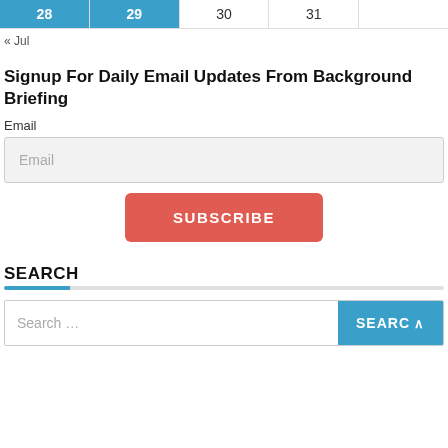| 28 | 29 | 30 | 31 |  |
| --- | --- | --- | --- | --- |
|  |
« Jul
Signup For Daily Email Updates From Background Briefing
Email
Email
SUBSCRIBE
SEARCH
Search …
SEARCH